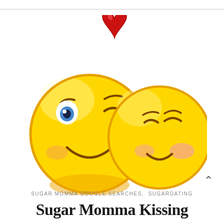[Figure (illustration): Two yellow emoji-style smiley faces kissing. The left emoji has one eye open (blue) and one eye winking, with an expression of giving a kiss (puckered red lips). The right emoji has both eyes closed with pink blush cheeks, receiving the kiss. Above them floats a red heart symbol.]
SUGAR MOMMA GOOGLE SEARCHES, SUGARDATING
Sugar Momma Kissing